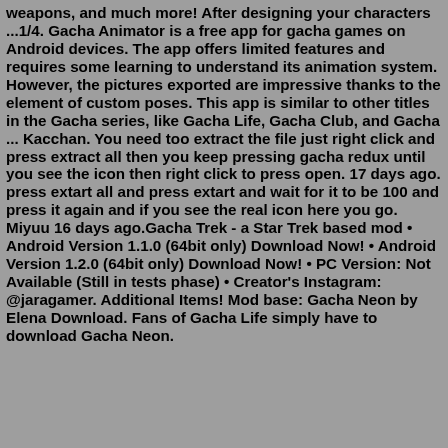weapons, and much more! After designing your characters ...1/4. Gacha Animator is a free app for gacha games on Android devices. The app offers limited features and requires some learning to understand its animation system. However, the pictures exported are impressive thanks to the element of custom poses. This app is similar to other titles in the Gacha series, like Gacha Life, Gacha Club, and Gacha ... Kacchan. You need too extract the file just right click and press extract all then you keep pressing gacha redux until you see the icon then right click to press open. 17 days ago. press extart all and press extart and wait for it to be 100 and press it again and if you see the real icon here you go. Miyuu 16 days ago.Gacha Trek - a Star Trek based mod • Android Version 1.1.0 (64bit only) Download Now! • Android Version 1.2.0 (64bit only) Download Now! • PC Version: Not Available (Still in tests phase) • Creator's Instagram: @jaragamer. Additional Items! Mod base: Gacha Neon by Elena Download. Fans of Gacha Life simply have to download Gacha Neon.